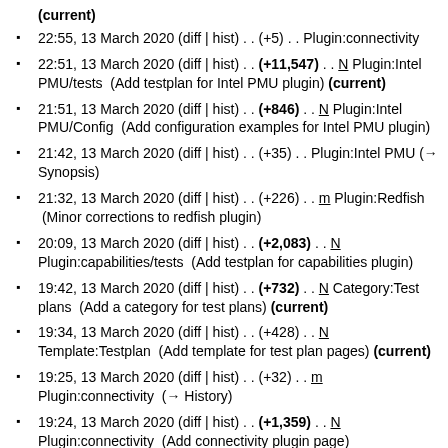(current)
22:55, 13 March 2020 (diff | hist) . . (+5) . . Plugin:connectivity
22:51, 13 March 2020 (diff | hist) . . (+11,547) . . N Plugin:Intel PMU/tests  (Add testplan for Intel PMU plugin) (current)
21:51, 13 March 2020 (diff | hist) . . (+846) . . N Plugin:Intel PMU/Config  (Add configuration examples for Intel PMU plugin)
21:42, 13 March 2020 (diff | hist) . . (+35) . . Plugin:Intel PMU (→ Synopsis)
21:32, 13 March 2020 (diff | hist) . . (+226) . . m Plugin:Redfish  (Minor corrections to redfish plugin)
20:09, 13 March 2020 (diff | hist) . . (+2,083) . . N Plugin:capabilities/tests  (Add testplan for capabilities plugin)
19:42, 13 March 2020 (diff | hist) . . (+732) . . N Category:Test plans  (Add a category for test plans) (current)
19:34, 13 March 2020 (diff | hist) . . (+428) . . N Template:Testplan  (Add template for test plan pages) (current)
19:25, 13 March 2020 (diff | hist) . . (+32) . . m Plugin:connectivity  (→ History)
19:24, 13 March 2020 (diff | hist) . . (+1,359) . . N Plugin:connectivity  (Add connectivity plugin page)
19:21, 13 March 2020 (diff | hist) . . (+43) . . m Plugin:connectivity/Config  (Add link back to plugin main page) (current)